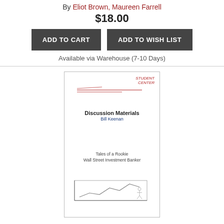By Eliot Brown, Maureen Farrell
$18.00
ADD TO CART
ADD TO WISH LIST
Available via Warehouse (7-10 Days)
[Figure (photo): Book cover for Discussion Materials: Tales of a Rookie Wall Street Investment Banker by Bill Keenan]
Discussion Materials: Tales of a Rookie Wall Street Investment Banker (Hardcover)
By Bill Keenan
$25.00
Backordered or unavailable - Email or call for more information
[Figure (photo): Book cover for The House of — (partially visible, dark blue cover with ornamental imagery)]